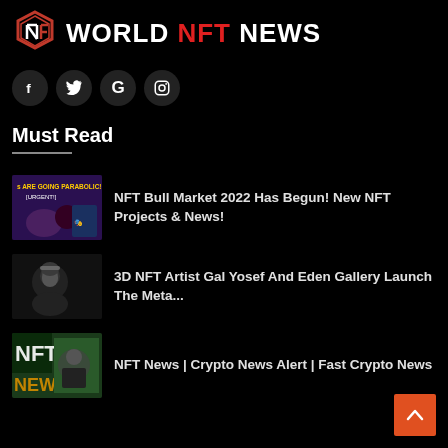[Figure (logo): World NFT News logo with hexagon icon and text WORLD NFT NEWS where NFT is in red]
[Figure (infographic): Social media icons: Facebook (f), Twitter (bird), Google (G), Instagram (camera) in dark circular buttons]
Must Read
NFT Bull Market 2022 Has Begun! New NFT Projects & News!
3D NFT Artist Gal Yosef And Eden Gallery Launch The Meta...
NFT News | Crypto News Alert | Fast Crypto News